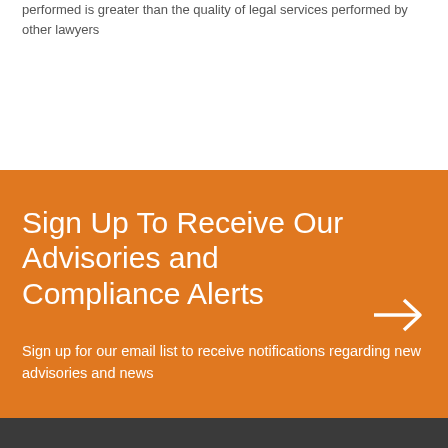performed is greater than the quality of legal services performed by other lawyers
Sign Up To Receive Our Advisories and Compliance Alerts
Sign up for our email list to receive notifications regarding new advisories and news